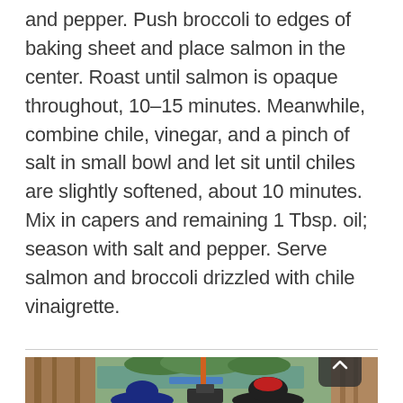and pepper. Push broccoli to edges of baking sheet and place salmon in the center. Roast until salmon is opaque throughout, 10–15 minutes. Meanwhile, combine chile, vinegar, and a pinch of salt in small bowl and let sit until chiles are slightly softened, about 10 minutes. Mix in capers and remaining 1 Tbsp. oil; season with salt and pepper. Serve salmon and broccoli drizzled with chile vinaigrette.
[Figure (photo): Outdoor photo showing two people leaning over a boat engine or machinery in a wooden dock/boathouse setting, with a green water body and trees in the background. Blue boat visible in water.]